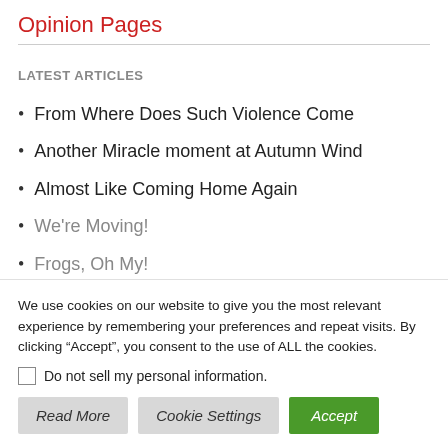Opinion Pages
LATEST ARTICLES
From Where Does Such Violence Come
Another Miracle moment at Autumn Wind
Almost Like Coming Home Again
We're Moving!
Frogs, Oh My!
We use cookies on our website to give you the most relevant experience by remembering your preferences and repeat visits. By clicking “Accept”, you consent to the use of ALL the cookies.
Do not sell my personal information.
Read More   Cookie Settings   Accept